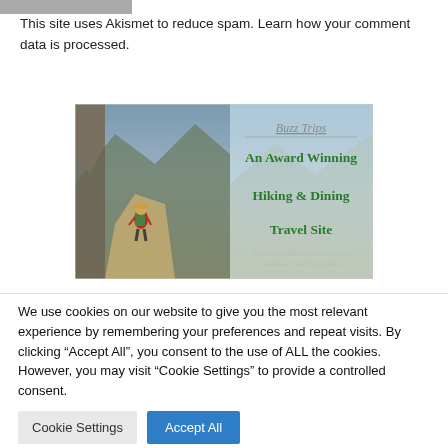This site uses Akismet to reduce spam. Learn how your comment data is processed.
[Figure (illustration): Buzz Trips - An Award Winning Hiking & Dining Travel Site banner image. Left half shows a person with a backpack hiking on a mountain trail. Right half has text overlay: Buzz Trips, An Award Winning Hiking & Dining Travel Site, Winner of the British Guild of Travel Writers Excellence in Travel Program Award.]
We use cookies on our website to give you the most relevant experience by remembering your preferences and repeat visits. By clicking “Accept All”, you consent to the use of ALL the cookies. However, you may visit "Cookie Settings" to provide a controlled consent.
Cookie Settings
Accept All